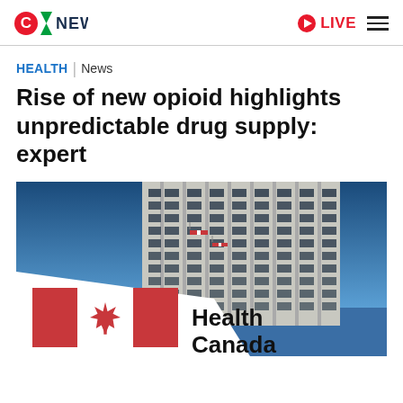CTV NEWS | LIVE
HEALTH | News
Rise of new opioid highlights unpredictable drug supply: expert
[Figure (photo): Photograph of the Health Canada building sign with a Canadian flag maple leaf logo in red, against a backdrop of a tall glass office tower and blue sky.]